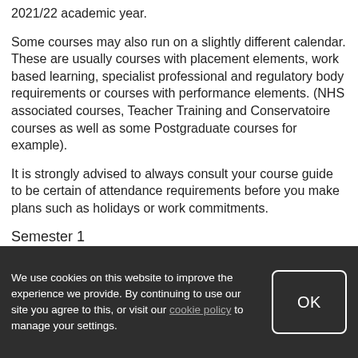2021/22 academic year.
Some courses may also run on a slightly different calendar. These are usually courses with placement elements, work based learning, specialist professional and regulatory body requirements or courses with performance elements. (NHS associated courses, Teacher Training and Conservatoire courses as well as some Postgraduate courses for example).
It is strongly advised to always consult your course guide to be certain of attendance requirements before you make plans such as holidays or work commitments.
Semester 1
We use cookies on this website to improve the experience we provide. By continuing to use our site you agree to this, or visit our cookie policy to manage your settings.